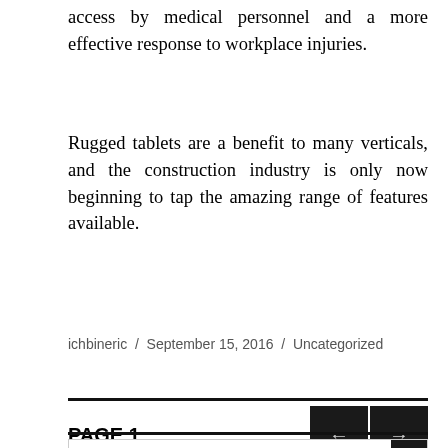access by medical personnel and a more effective response to workplace injuries.
Rugged tablets are a benefit to many verticals, and the construction industry is only now beginning to tap the amazing range of features available.
ichbineric / September 15, 2016 / Uncategorized
PAGE 1